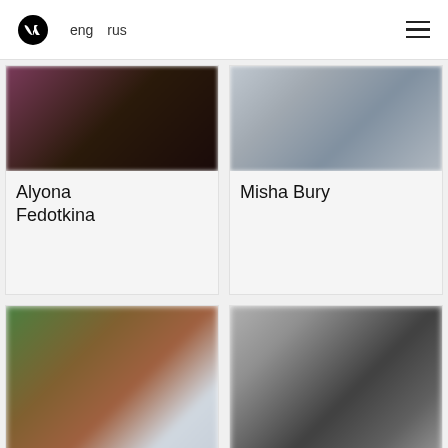eng  rus
Alyona Fedotkina
Misha Bury
[Figure (photo): Blurred photo, bottom-left card, partially visible]
[Figure (photo): Blurred grayscale photo, bottom-right card, partially visible]